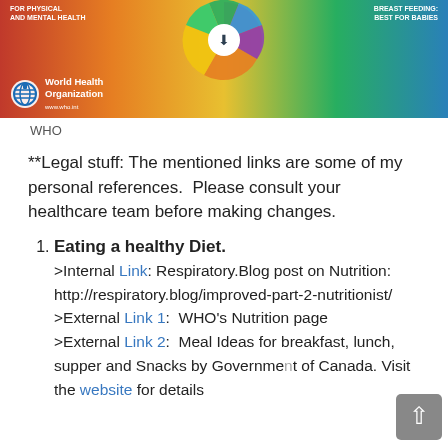[Figure (photo): WHO colorful circular nutrition wheel infographic with World Health Organization logo at the bottom left, showing segments in red, orange, yellow, green, teal, blue colors with icons]
WHO
**Legal stuff: The mentioned links are some of my personal references.  Please consult your healthcare team before making changes.
Eating a healthy Diet. >Internal Link: Respiratory.Blog post on Nutrition: http://respiratory.blog/improved-part-2-nutritionist/ >External Link 1:  WHO's Nutrition page >External Link 2:  Meal Ideas for breakfast, lunch, supper and Snacks by Government of Canada. Visit the website for details